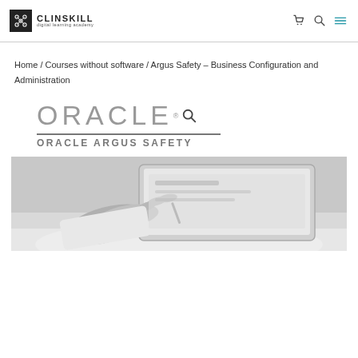CLINSKILL digital learning academy — navigation header with cart, search, and menu icons
Home / Courses without software / Argus Safety – Business Configuration and Administration
[Figure (logo): Oracle Argus Safety logo: ORACLE wordmark in grey with registered trademark symbol and search icon, horizontal divider line, and ORACLE ARGUS SAFETY subtitle text in grey]
[Figure (photo): Black and white photo of hands holding a tablet device, person wearing white shirt]